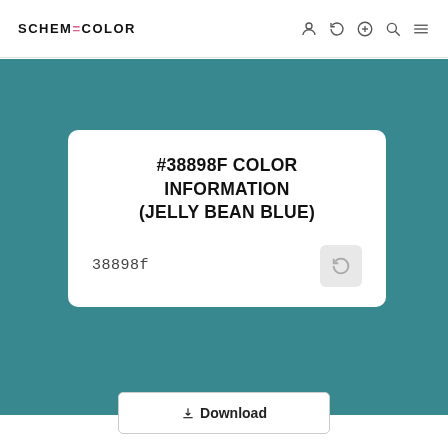SCHEMECOLOR
#38898F COLOR INFORMATION (JELLY BEAN BLUE)
38898f
Download